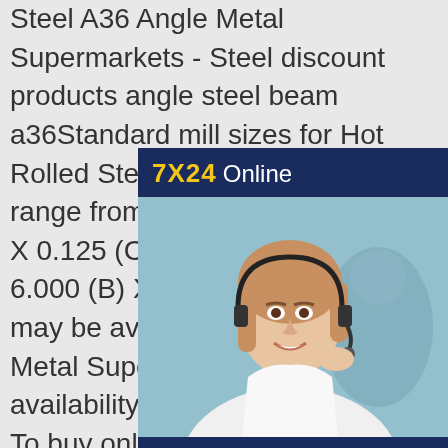Steel A36 Angle Metal Supermarkets - Steel discount products angle steel beam a36Standard mill sizes for Hot Rolled Steel Angle Grade A36 range from 0.500 (A) X 0.500 (B) X 0.125 (C) all the way to 6.000 (A) X 6.000 (B) X 0.375 (C). Other sizes may be available. Contact your local Metal Supermarkets store to confirm availability and pricing, or buy online. To buy online, find your desired size below and click on the applicable cart.discount products angle steel beam a36a36 steel anglea36 steel i beam charta36 i beama36 steel angle dimensionsastm a36 steel anglea36 angle irona36 angle weighta36 wide flange beamHot Rolled Steel A36 Angle Metal Supermarkets - Steel discount products angle steel beam a36Standard mill sizes
[Figure (other): Customer service chat widget with '7X24 Online' header in navy and yellow, photo of smiling woman with headset, 'Hello,may I help you?' text in italic white on navy background, and yellow 'Get Latest Price' button]